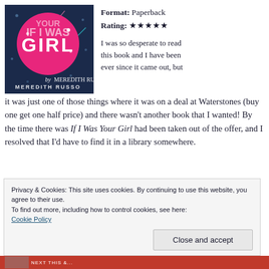[Figure (illustration): Book cover for 'If I Was Your Girl' by Meredith Russo. Dark navy blue background with a pink circle containing the word 'GIRL' in white with sparkle/star decorative elements. The author name 'by MEREDITH RUSSO' appears at the bottom.]
Format: Paperback
Rating: ★★★★★
I was so desperate to read this book and I have been ever since it came out, but it was just one of those things where it was on a deal at Waterstones (buy one get one half price) and there wasn't another book that I wanted! By the time there was If I Was Your Girl had been taken out of the offer, and I resolved that I'd have to find it in a library somewhere.
Privacy & Cookies: This site uses cookies. By continuing to use this website, you agree to their use.
To find out more, including how to control cookies, see here:
Cookie Policy
Close and accept